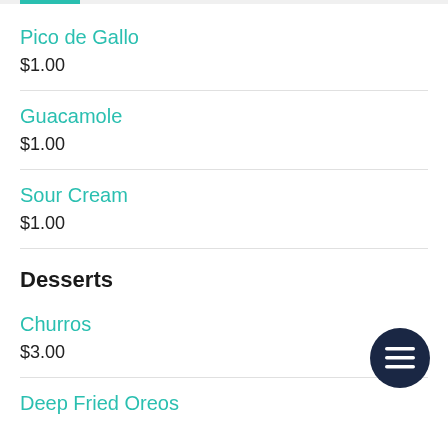Pico de Gallo
$1.00
Guacamole
$1.00
Sour Cream
$1.00
Desserts
Churros
$3.00
Deep Fried Oreos